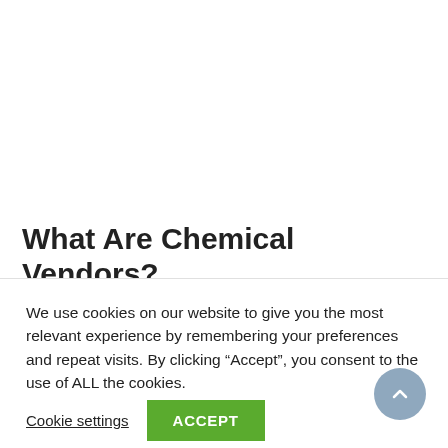What Are Chemical Vendors?
AUGUST 15, 2021 BY ADMIN IN UNCATEGORIZED
We use cookies on our website to give you the most relevant experience by remembering your preferences and repeat visits. By clicking “Accept”, you consent to the use of ALL the cookies.
Cookie settings  ACCEPT